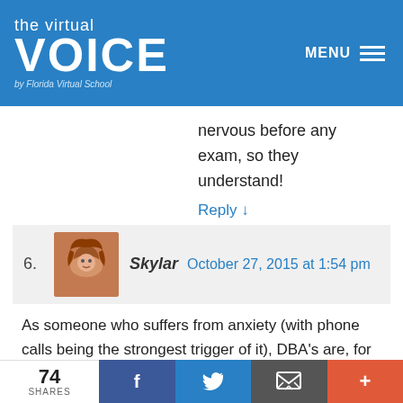[Figure (logo): The Virtual VOICE by Florida Virtual School logo on blue background with MENU hamburger icon]
nervous before any exam, so they understand!
Reply ↓
6. Skylar   October 27, 2015 at 1:54 pm
As someone who suffers from anxiety (with phone calls being the strongest trigger of it), DBA's are, for lack of a better word, terrifying for me. I understand the purpose for these on-the-spot quizzes, but feel there should be an alternate assignment for those of us who are literally on the brink of tears whenever we
74 SHARES  [Facebook] [Twitter] [Email] [+]